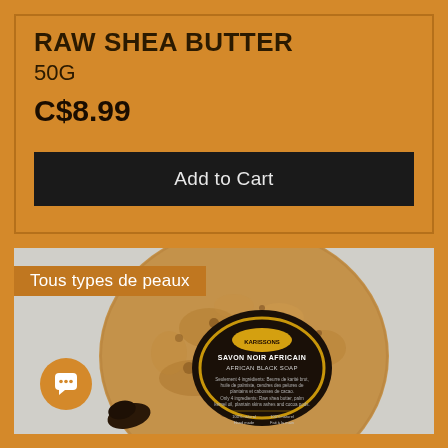RAW SHEA BUTTER
50G
C$8.99
Add to Cart
[Figure (photo): A round bar of African black soap with a circular label reading 'SAVON NOIR AFRICAIN / AFRICAN BLACK SOAP' with ingredient details in French and English. A small piece of dark soap sits in front. The soap has a rough, natural texture in brown tones. The label also shows the Karissons brand logo and states '100% natural / Hand made / Fait à la main'.]
Tous types de peaux